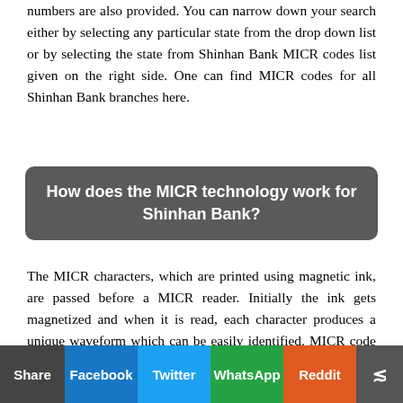numbers are also provided. You can narrow down your search either by selecting any particular state from the drop down list or by selecting the state from Shinhan Bank MICR codes list given on the right side. One can find MICR codes for all Shinhan Bank branches here.
How does the MICR technology work for Shinhan Bank?
The MICR characters, which are printed using magnetic ink, are passed before a MICR reader. Initially the ink gets magnetized and when it is read, each character produces a unique waveform which can be easily identified. MICR code of Shinhan Bank is typically in either of these two fonts: E-138 and CMC-7. The MICR code allows the characters to be read reliably even if they are over-printed or concealed by stamps and signatures. This makes the system very efficient. This code is used By RBI (Reserve bank Of India) in clearing process to
Share  Facebook  Twitter  WhatsApp  Reddit